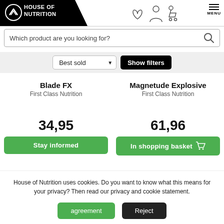HOUSE OF NUTRITION
Which product are you looking for?
Best sold | Show filters
Blade FX
First Class Nutrition
34,95
Magnetude Explosive
First Class Nutrition
61,96
House of Nutrition uses cookies. Do you want to know what this means for your privacy? Then read our privacy and cookie statement.
agreement | Reject